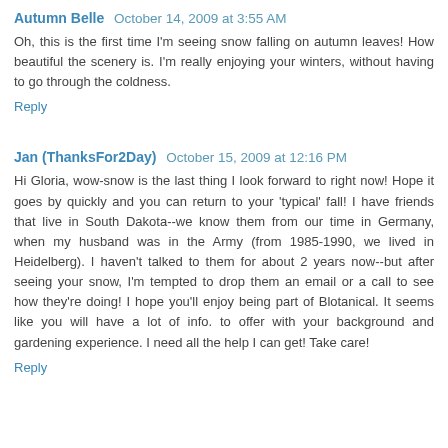Autumn Belle  October 14, 2009 at 3:55 AM
Oh, this is the first time I'm seeing snow falling on autumn leaves! How beautiful the scenery is. I'm really enjoying your winters, without having to go through the coldness.
Reply
Jan (ThanksFor2Day)  October 15, 2009 at 12:16 PM
Hi Gloria, wow-snow is the last thing I look forward to right now! Hope it goes by quickly and you can return to your 'typical' fall! I have friends that live in South Dakota--we know them from our time in Germany, when my husband was in the Army (from 1985-1990, we lived in Heidelberg). I haven't talked to them for about 2 years now--but after seeing your snow, I'm tempted to drop them an email or a call to see how they're doing! I hope you'll enjoy being part of Blotanical. It seems like you will have a lot of info. to offer with your background and gardening experience. I need all the help I can get! Take care!
Reply